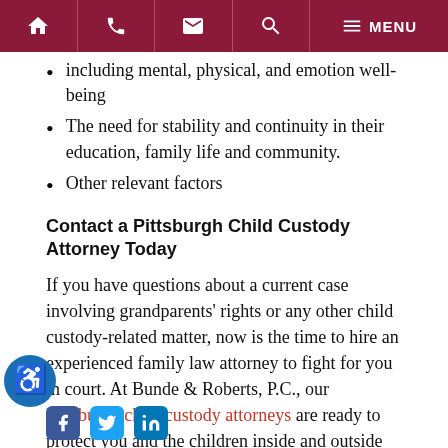Navigation bar with home, phone, email, search, and menu icons
including mental, physical, and emotion well-being
The need for stability and continuity in their education, family life and community.
Other relevant factors
Contact a Pittsburgh Child Custody Attorney Today
If you have questions about a current case involving grandparents' rights or any other child custody-related matter, now is the time to hire an experienced family law attorney to fight for you in court. At Bunde & Roberts, P.C., our Pittsburgh child custody attorneys are ready to protect you and the children inside and outside the courtroom. Contact us today for help.
[Figure (infographic): Accessibility wheelchair icon in a blue circle]
[Figure (infographic): Social media icons: Facebook, Twitter, LinkedIn]